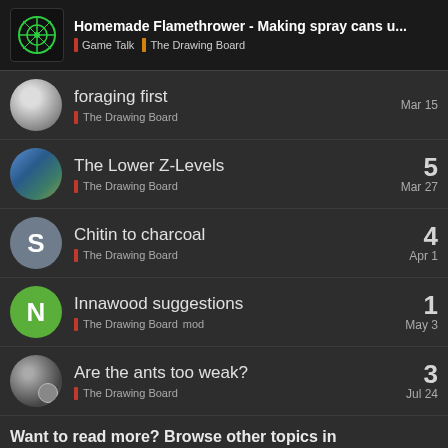Homemade Flamethrower - Making spray cans u... | Game Talk | The Drawing Board
foraging first | The Drawing Board | Mar 15
The Lower Z-Levels | The Drawing Board | Mar 27 | replies: 5
Chitin to charcoal | The Drawing Board | Apr 1 | replies: 4
Innawood suggestions | The Drawing Board mod | May 3 | replies: 1
Are the ants too weak? | The Drawing Board | Jul 24 | replies: 3
Want to read more? Browse other topics in The Drawing Board or view latest topics.